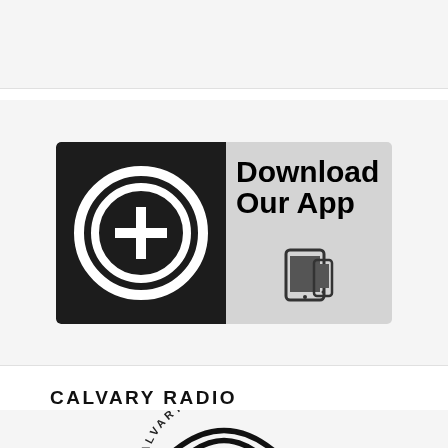[Figure (illustration): Top gray section placeholder area]
[Figure (illustration): App download banner showing a church app icon (dark rounded square with cross symbol) on the left and 'Download Our App' text with mobile device icons on the right]
CALVARY RADIO
[Figure (logo): Calvary Radio circular logo with radio waves and cross, partially visible at the bottom of the page]